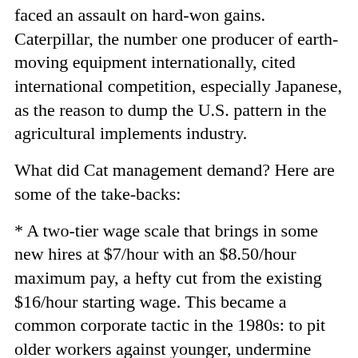faced an assault on hard-won gains. Caterpillar, the number one producer of earth-moving equipment internationally, cited international competition, especially Japanese, as the reason to dump the U.S. pattern in the agricultural implements industry.
What did Cat management demand? Here are some of the take-backs:
* A two-tier wage scale that brings in some new hires at $7/hour with an $8.50/hour maximum pay, a hefty cut from the existing $16/hour starting wage. This became a common corporate tactic in the 1980s: to pit older workers against younger, undermine worker/union solidarity and begin slashing all wages.
* Loss of job assignments. Workers would be “flexible,” assigned to whatever job management wanted. A worker who refused would lose the right to the promised six-year job security guarantees. A second refusal could cost you your job. These